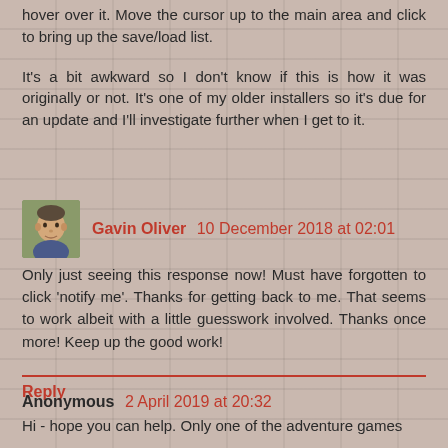hover over it. Move the cursor up to the main area and click to bring up the save/load list.
It's a bit awkward so I don't know if this is how it was originally or not. It's one of my older installers so it's due for an update and I'll investigate further when I get to it.
Gavin Oliver  10 December 2018 at 02:01
Only just seeing this response now! Must have forgotten to click 'notify me'. Thanks for getting back to me. That seems to work albeit with a little guesswork involved. Thanks once more! Keep up the good work!
Reply
Anonymous  2 April 2019 at 20:32
Hi - hope you can help. Only one of the adventure games